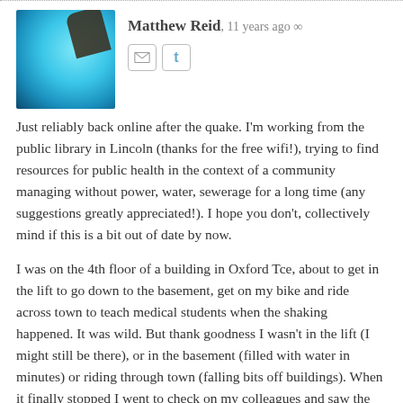[Figure (photo): Avatar photo of Matthew Reid showing a glowing blue light with a dark hand silhouette]
Matthew Reid, 11 years ago ∞
Just reliably back online after the quake. I'm working from the public library in Lincoln (thanks for the free wifi!), trying to find resources for public health in the context of a community managing without power, water, sewerage for a long time (any suggestions greatly appreciated!). I hope you don't, collectively mind if this is a bit out of date by now.
I was on the 4th floor of a building in Oxford Tce, about to get in the lift to go down to the basement, get on my bike and ride across town to teach medical students when the shaking happened. It was wild. But thank goodness I wasn't in the lift (I might still be there), or in the basement (filled with water in minutes) or riding through town (falling bits off buildings). When it finally stopped I went to check on my colleagues and saw the last of the collapse of the PGC building across the river.